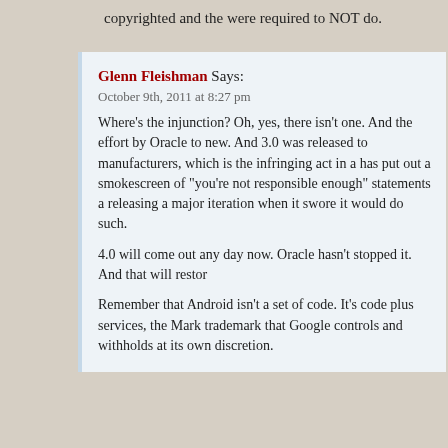copyrighted and the were required to NOT do.
Glenn Fleishman Says:
October 9th, 2011 at 8:27 pm
Where's the injunction? Oh, yes, there isn't one. And the effort by Oracle to new. And 3.0 was released to manufacturers, which is the infringing act in a has put out a smokescreen of "you're not responsible enough" statements a releasing a major iteration when it swore it would do such.

4.0 will come out any day now. Oracle hasn't stopped it. And that will restor

Remember that Android isn't a set of code. It's code plus services, the Mark trademark that Google controls and withholds at its own discretion.
Dave Says:
October 10th, 2011 at 3:53 pm
Unfortunately you're off a bit, they released the kernel and gpl parts as is req are required to release. As much of android is not GPL, they don't need to re that many people complaining about the code release conveniently forget thi

As to whether or not that is good or bad is a matter of opinion, much like App Stallmans very draconian open source rants.